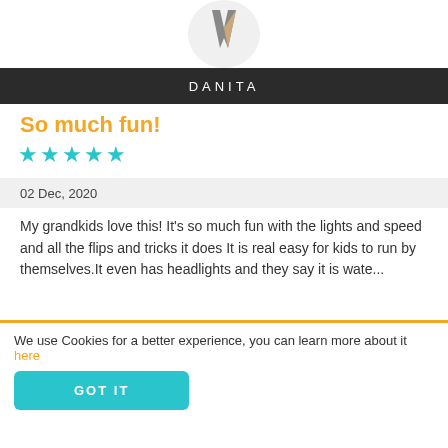[Figure (logo): Logo with gray and tan/gold V shape on white circular background]
DANITA
So much fun!
[Figure (infographic): 5 cyan/teal star rating icons]
02 Dec, 2020
My grandkids love this! It's so much fun with the lights and speed and all the flips and tricks it does It is real easy for kids to run by themselves.It even has headlights and they say it is wate...
READ MORE »
[Figure (photo): Circular cropped photo of a person with dark hair, partially visible at bottom of page]
We use Cookies for a better experience, you can learn more about it here
GOT IT